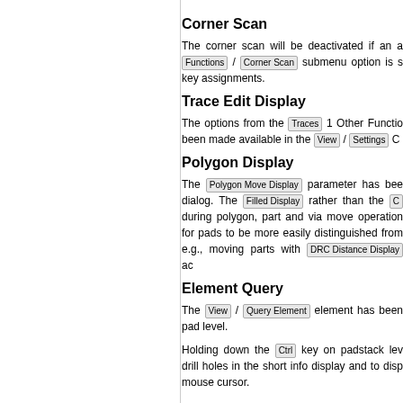Corner Scan
The corner scan will be deactivated if an a... Functions / Corner Scan submenu option is s... key assignments.
Trace Edit Display
The options from the Traces | 1 Other Functio... been made available in the View / Settings C...
Polygon Display
The Polygon Move Display parameter has bee... dialog. The Filled Display rather than the C... during polygon, part and via move operation... for pads to be more easily distinguished from... e.g., moving parts with DRC Distance Display ac...
Element Query
The View / Query Element element has been... pad level.
Holding down the Ctrl key on padstack lev... drill holes in the short info display and to disp... mouse cursor.